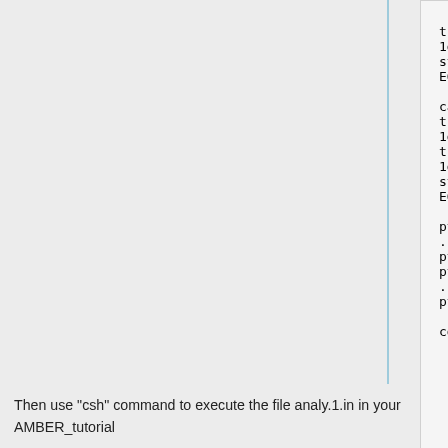trajout
1df8.rec.trj.stripfit
strip :119
EOF

cat <<EOF > ptraj.5.in
trajin
1df8.com.trj.stripfit
trajout
1df8.lig.trj.stripfit
strip :1-118
EOF

ptraj
../002.TLEAP/1df8.com.gas.leap.
ptraj.4.in >ptraj.4.log
ptraj
../002.TLEAP/1df8.com.gas.leap.
ptraj.5.in >ptraj.5.log

cd ..
Then use "csh" command to execute the file analy.1.in in your AMBER_tutorial